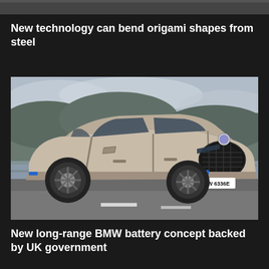[Figure (photo): Partial top strip of a previous article image, dark toned]
New technology can bend origami shapes from steel
[Figure (photo): A BMW iX electric SUV (license plate M KW 6336E) driving on a road with a blurred background of rocky hills and overcast sky. The car is silver/champagne colored with blue accent trim and a large black kidney grille.]
New long-range BMW battery concept backed by UK government